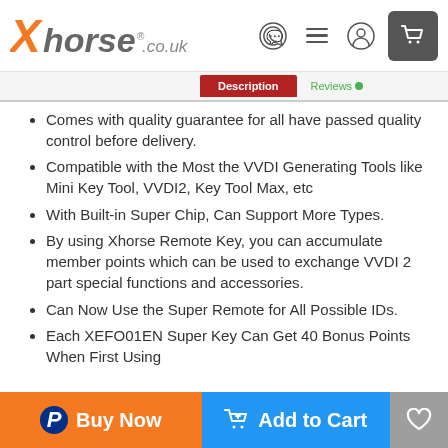Xhorse.co.uk
Comes with quality guarantee for all have passed quality control before delivery.
Compatible with the Most the VVDI Generating Tools like Mini Key Tool, VVDI2, Key Tool Max, etc
With Built-in Super Chip, Can Support More Types.
By using Xhorse Remote Key, you can accumulate member points which can be used to exchange VVDI 2 part special functions and accessories.
Can Now Use the Super Remote for All Possible IDs.
Each XEFO01EN Super Key Can Get 40 Bonus Points When First Using
Buy Now | Add to Cart | Wishlist